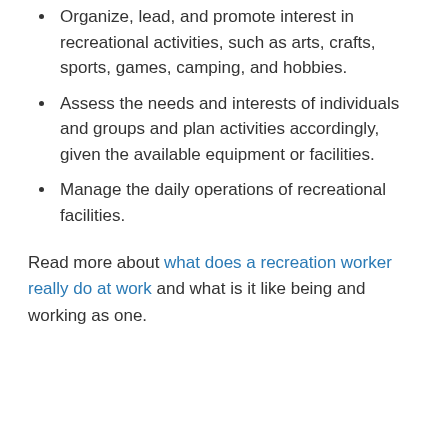Organize, lead, and promote interest in recreational activities, such as arts, crafts, sports, games, camping, and hobbies.
Assess the needs and interests of individuals and groups and plan activities accordingly, given the available equipment or facilities.
Manage the daily operations of recreational facilities.
Read more about what does a recreation worker really do at work and what is it like being and working as one.